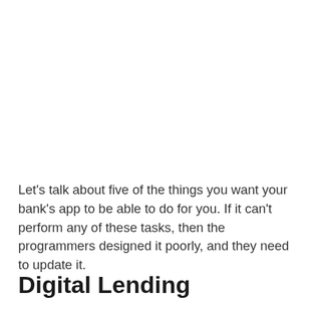Let's talk about five of the things you want your bank's app to be able to do for you. If it can't perform any of these tasks, then the programmers designed it poorly, and they need to update it.
Digital Lending